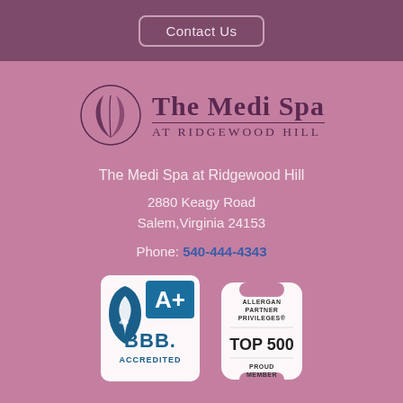Contact Us
[Figure (logo): The Medi Spa at Ridgewood Hill logo — stylized leaf/droplet icon with spa name in serif font]
The Medi Spa at Ridgewood Hill
2880 Keagy Road
Salem,Virginia 24153
Phone: 540-444-4343
[Figure (logo): BBB Accredited A+ rating badge]
[Figure (logo): Allergan Partner Privileges Top 500 Proud Member badge]